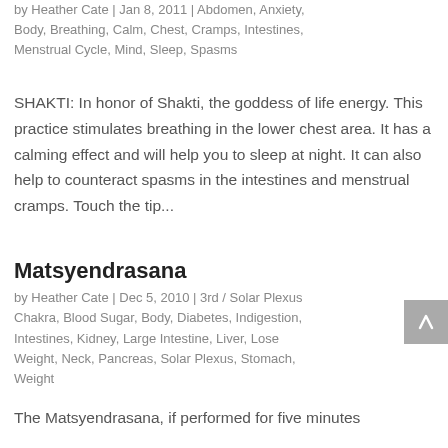by Heather Cate | Jan 8, 2011 | Abdomen, Anxiety, Body, Breathing, Calm, Chest, Cramps, Intestines, Menstrual Cycle, Mind, Sleep, Spasms
SHAKTI: In honor of Shakti, the goddess of life energy. This practice stimulates breathing in the lower chest area. It has a calming effect and will help you to sleep at night. It can also help to counteract spasms in the intestines and menstrual cramps. Touch the tip...
Matsyendrasana
by Heather Cate | Dec 5, 2010 | 3rd / Solar Plexus Chakra, Blood Sugar, Body, Diabetes, Indigestion, Intestines, Kidney, Large Intestine, Liver, Lose Weight, Neck, Pancreas, Solar Plexus, Stomach, Weight
The Matsyendrasana, if performed for five minutes